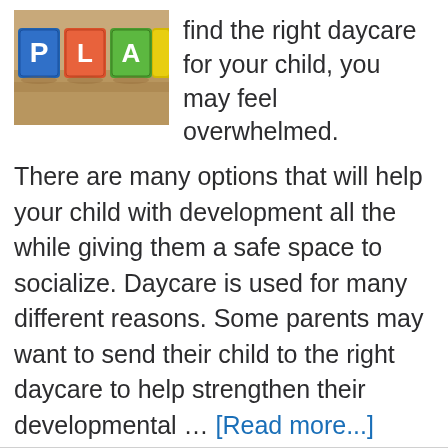[Figure (photo): Photo of colorful alphabet/letter blocks spelling PLAY on a wooden surface]
find the right daycare for your child, you may feel overwhelmed.
There are many options that will help your child with development all the while giving them a safe space to socialize. Daycare is used for many different reasons. Some parents may want to send their child to the right daycare to help strengthen their developmental … [Read more...]